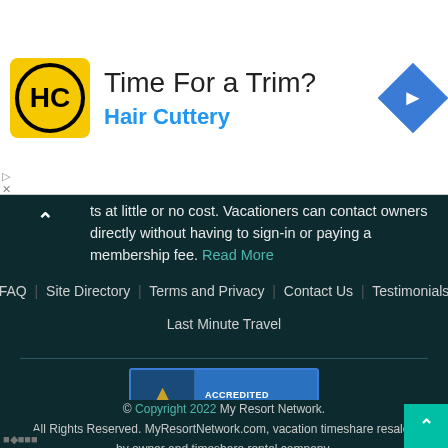[Figure (logo): Hair Cuttery advertisement banner with HC logo, 'Time For a Trim?' headline, 'Hair Cuttery' subheading, and navigation icon]
ts at little or no cost. Vacationers can contact owners directly without having to sign-in or paying a membership fee. Read More
FAQ | Site Directory | Terms and Privacy | Contact Us | Testimonials
Last Minute Travel
[Figure (logo): BBB Accredited Business badge with BBB Rating: A+]
© Copyright 2022 My Resort Network. All Rights Reserved. MyResortNetwork.com, vacation timeshare resales by owner and timeshare rental company.